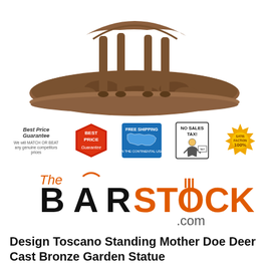[Figure (photo): Bronze statue base - Design Toscano Standing Mother Doe Deer Cast Bronze Garden Statue, showing the rocky textured base with deer legs visible]
[Figure (infographic): Row of promotional badges: Best Price Guarantee text, red Best Price Guarantee badge, Free Shipping in the Continental USA blue USA map badge, No Sales Tax badge with illustrated character, 100% Satisfaction Guarantee gold seal]
[Figure (logo): The BarStock.com logo - black and orange lettering with fork icon replacing I in STOCK and signal/wifi arc above the A in BAR]
Design Toscano Standing Mother Doe Deer Cast Bronze Garden Statue